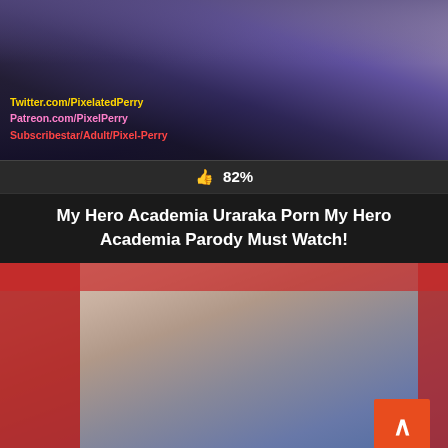[Figure (screenshot): Animated/3D rendered character scene, top portion of a video thumbnail with purple/dark tones]
Twitter.com/PixelatedPerry
Patreon.com/PixelPerry
Subscribestar/Adult/Pixel-Perry
👍 82%
My Hero Academia Uraraka Porn My Hero Academia Parody Must Watch!
[Figure (screenshot): Animated/3D rendered character scene, bottom portion showing anime-style character with pink hair accessories, red and white background]